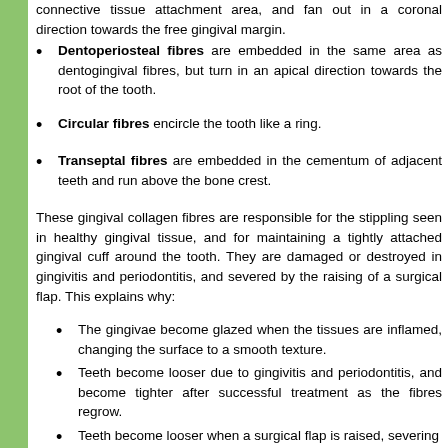connective tissue attachment area, and fan out in a coronal direction towards the free gingival margin.
Dentoperiosteal fibres are embedded in the same area as dentogingival fibres, but turn in an apical direction towards the root of the tooth.
Circular fibres encircle the tooth like a ring.
Transeptal fibres are embedded in the cementum of adjacent teeth and run above the bone crest.
These gingival collagen fibres are responsible for the stippling seen in healthy gingival tissue, and for maintaining a tightly attached gingival cuff around the tooth. They are damaged or destroyed in gingivitis and periodontitis, and severed by the raising of a surgical flap. This explains why:
The gingivae become glazed when the tissues are inflamed, changing the surface to a smooth texture.
Teeth become looser due to gingivitis and periodontitis, and become tighter after successful treatment as the fibres regrow.
Teeth become looser when a surgical flap is raised, severing the transeptal and circular fibres, and tighter after...